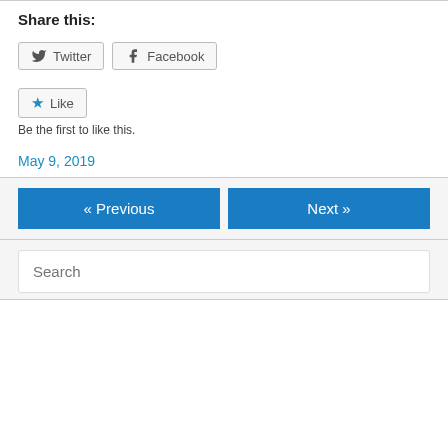Share this:
[Figure (other): Twitter and Facebook share buttons]
[Figure (other): Like button with star icon and text 'Be the first to like this.']
May 9, 2019
[Figure (other): Navigation buttons: « Previous and Next »]
[Figure (other): Search input box with placeholder text 'Search']